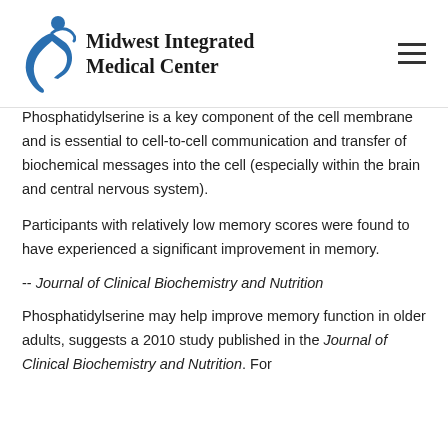Midwest Integrated Medical Center
Phosphatidylserine is a key component of the cell membrane and is essential to cell-to-cell communication and transfer of biochemical messages into the cell (especially within the brain and central nervous system).
Participants with relatively low memory scores were found to have experienced a significant improvement in memory.
-- Journal of Clinical Biochemistry and Nutrition
Phosphatidylserine may help improve memory function in older adults, suggests a 2010 study published in the Journal of Clinical Biochemistry and Nutrition. For